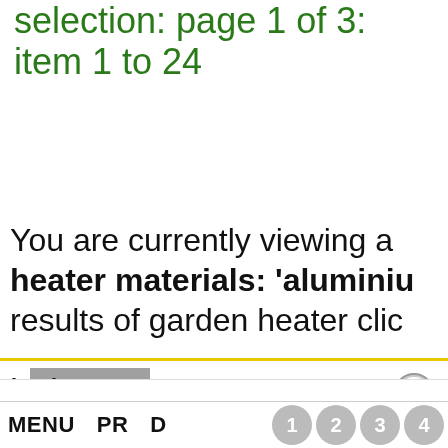selection: page 1 of 3: item 1 to 24
You are currently viewing a selection of garden heater materials: 'aluminium' results of garden heater click below
garden heater: full results: 30 pages
MENU  PRODUCTS  SEARCH  1  2  3  4